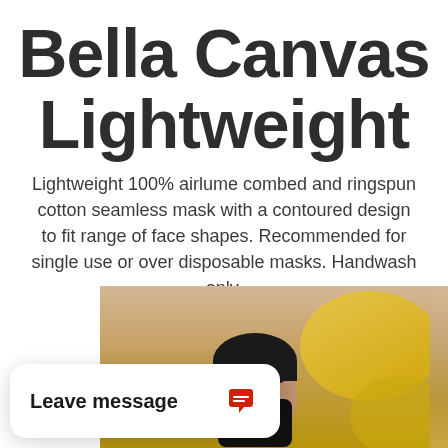Bella Canvas Lightweight
Lightweight 100% airlume combed and ringspun cotton seamless mask with a contoured design to fit range of face shapes. Recommended for single use or over disposable masks. Handwash only.
Available in: Black
[Figure (photo): Photo of a person wearing a black face mask, with a blurred yellow/beige background. Only the top of the head and eyes are visible.]
Leave message